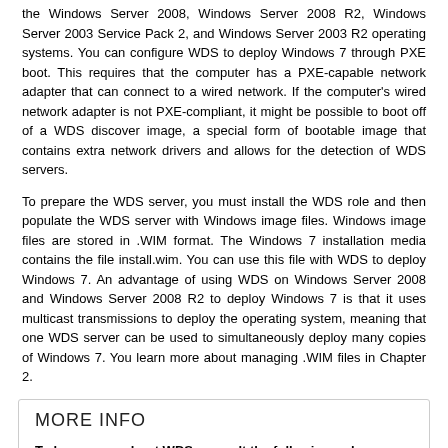the Windows Server 2008, Windows Server 2008 R2, Windows Server 2003 Service Pack 2, and Windows Server 2003 R2 operating systems. You can configure WDS to deploy Windows 7 through PXE boot. This requires that the computer has a PXE-capable network adapter that can connect to a wired network. If the computer's wired network adapter is not PXE-compliant, it might be possible to boot off of a WDS discover image, a special form of bootable image that contains extra network drivers and allows for the detection of WDS servers.
To prepare the WDS server, you must install the WDS role and then populate the WDS server with Windows image files. Windows image files are stored in .WIM format. The Windows 7 installation media contains the file install.wim. You can use this file with WDS to deploy Windows 7. An advantage of using WDS on Windows Server 2008 and Windows Server 2008 R2 to deploy Windows 7 is that it uses multicast transmissions to deploy the operating system, meaning that one WDS server can be used to simultaneously deploy many copies of Windows 7. You learn more about managing .WIM files in Chapter 2.
MORE INFO
To learn more about WDS, consult the following webpage: http://technet.microsoft.com/en-us/library/dd744343(WS.10).aspx.